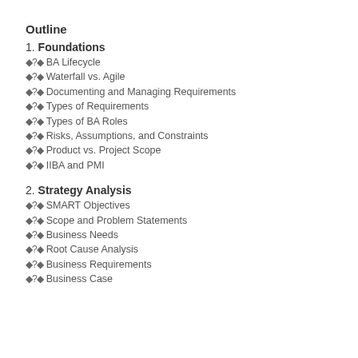Outline
1. Foundations
BA Lifecycle
Waterfall vs. Agile
Documenting and Managing Requirements
Types of Requirements
Types of BA Roles
Risks, Assumptions, and Constraints
Product vs. Project Scope
IIBA and PMI
2. Strategy Analysis
SMART Objectives
Scope and Problem Statements
Business Needs
Root Cause Analysis
Business Requirements
Business Case